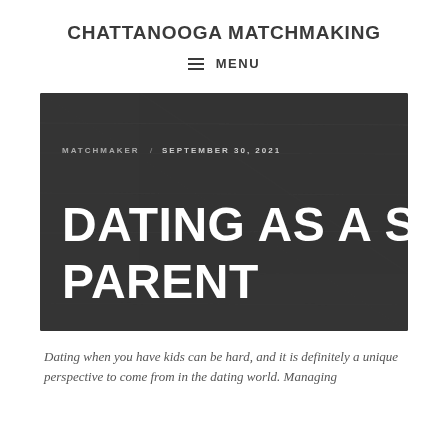CHATTANOOGA MATCHMAKING
≡ MENU
[Figure (screenshot): Dark chalkboard-style hero image with text: MATCHMAKER / SEPTEMBER 30, 2021 and heading DATING AS A SINGLE PARENT in large white uppercase letters]
Dating when you have kids can be hard, and it is definitely a unique perspective to come from in the dating world. Managing